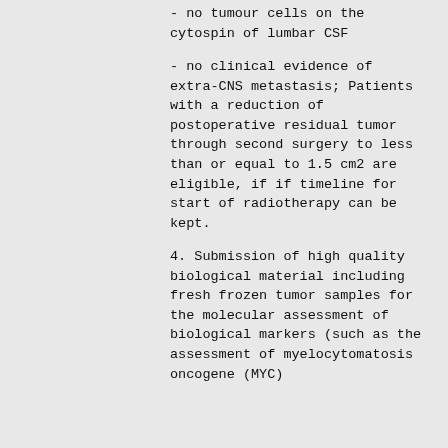- no tumour cells on the cytospin of lumbar CSF
- no clinical evidence of extra-CNS metastasis; Patients with a reduction of postoperative residual tumor through second surgery to less than or equal to 1.5 cm2 are eligible, if if timeline for start of radiotherapy can be kept.
4. Submission of high quality biological material including fresh frozen tumor samples for the molecular assessment of biological markers (such as the assessment of myelocytomatosis oncogene (MYC)